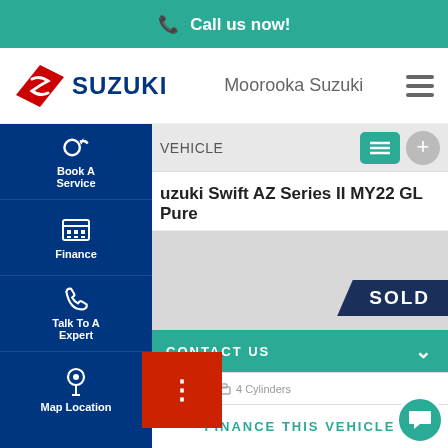Call us now!
[Figure (logo): Suzuki logo with red diamond and text SUZUKI, followed by dealership name Moorooka Suzuki and hamburger menu icon]
VEHICLE
uzuki Swift AZ Series II MY22 GL Pure
[Figure (other): SOLD banner overlay on vehicle image area]
CONTACT US
Kms   4 Cylinders
FINANCE THIS VEHICLE